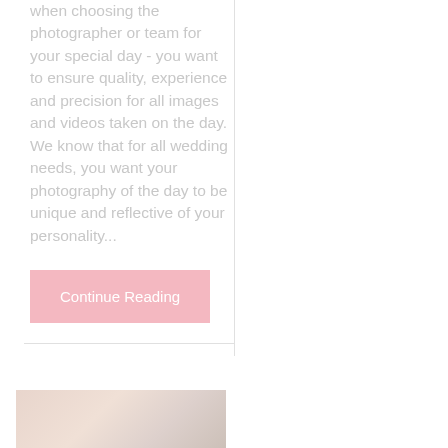when choosing the photographer or team for your special day - you want to ensure quality, experience and precision for all images and videos taken on the day. We know that for all wedding needs, you want your photography of the day to be unique and reflective of your personality...
Continue Reading
[Figure (photo): Partial photo visible at bottom left, appears to be a warm-toned wedding or event photograph]